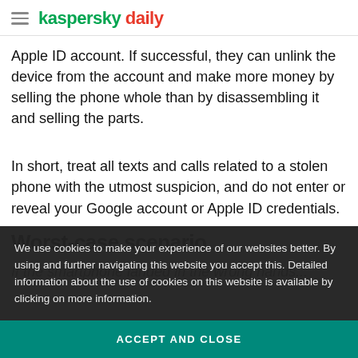kaspersky daily
Apple ID account. If successful, they can unlink the device from the account and make more money by selling the phone whole than by disassembling it and selling the parts.
In short, treat all texts and calls related to a stolen phone with the utmost suspicion, and do not enter or reveal your Google account or Apple ID credentials.
Worst-case scenario
If the smartphone landed in the wrong hands...
We use cookies to make your experience of our websites better. By using and further navigating this website you accept this. Detailed information about the use of cookies on this website is available by clicking on more information.
ACCEPT AND CLOSE